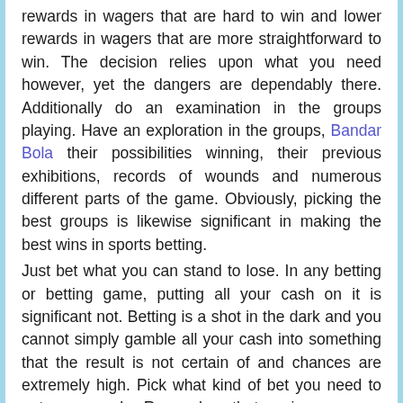rewards in wagers that are hard to win and lower rewards in wagers that are more straightforward to win. The decision relies upon what you need however, yet the dangers are dependably there. Additionally do an examination in the groups playing. Have an exploration in the groups, Bandar Bola their possibilities winning, their previous exhibitions, records of wounds and numerous different parts of the game. Obviously, picking the best groups is likewise significant in making the best wins in sports betting.
Just bet what you can stand to lose. In any betting or betting game, putting all your cash on it is significant not. Betting is a shot in the dark and you cannot simply gamble all your cash into something that the result is not certain of and chances are extremely high. Pick what kind of bet you need to put your cash. Remember that various wagers have fluctuating dangers and chances of striking it rich. A savvy